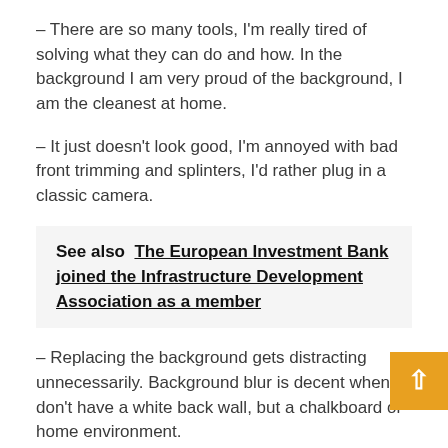– There are so many tools, I'm really tired of solving what they can do and how. In the background I am very proud of the background, I am the cleanest at home.
– It just doesn't look good, I'm annoyed with bad front trimming and splinters, I'd rather plug in a classic camera.
See also  The European Investment Bank joined the Infrastructure Development Association as a member
– Replacing the background gets distracting unnecessarily. Background blur is decent when I don't have a white back wall, but a chalkboard or home environment.